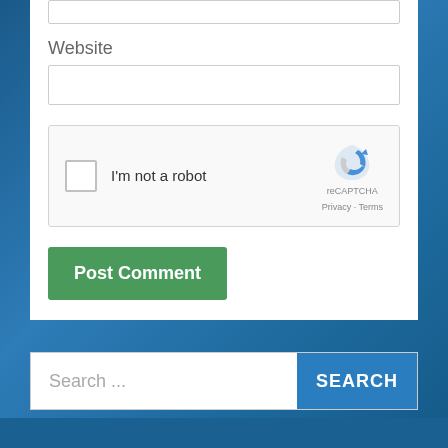Website
[Figure (screenshot): reCAPTCHA widget with checkbox labeled I'm not a robot, reCAPTCHA logo, Privacy and Terms links]
Post Comment
Search ...
SEARCH